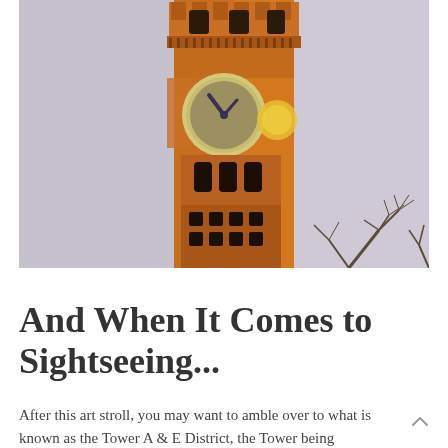[Figure (photo): A tall clock tower (Baltimore's Emerson Bromo-Seltzer Tower) photographed at dusk or dawn, lit in warm amber/orange tones. The tower has Romanesque architecture with a large clock face visible, arched windows, and a crenellated top. Bare tree branches are visible at lower right. Sky is pale lavender-grey.]
And When It Comes to Sightseeing...
After this art stroll, you may want to amble over to what is known as the Tower A & E District, the Tower being